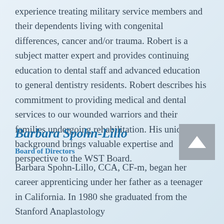experience treating military service members and their dependents living with congenital differences, cancer and/or trauma. Robert is a subject matter expert and provides continuing education to dental staff and advanced education to general dentistry residents. Robert describes his commitment to providing medical and dental services to our wounded warriors and their families undergoing rehabilitation. His unique background brings valuable expertise and perspective to the WST Board.
Barbara Spohn-Lillo
Board of Directors
Barbara Spohn-Lillo, CCA, CF-m, began her career apprenticing under her father as a teenager in California. In 1980 she graduated from the Stanford Anaplastology